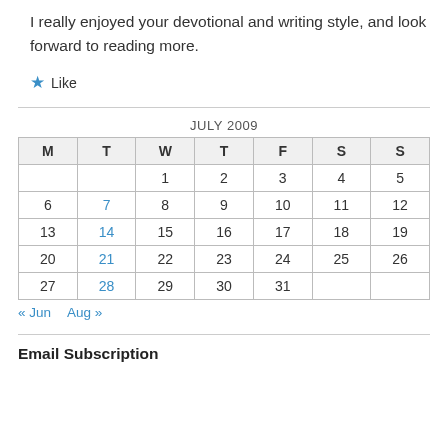I really enjoyed your devotional and writing style, and look forward to reading more.
★ Like
| M | T | W | T | F | S | S |
| --- | --- | --- | --- | --- | --- | --- |
|  |  | 1 | 2 | 3 | 4 | 5 |
| 6 | 7 | 8 | 9 | 10 | 11 | 12 |
| 13 | 14 | 15 | 16 | 17 | 18 | 19 |
| 20 | 21 | 22 | 23 | 24 | 25 | 26 |
| 27 | 28 | 29 | 30 | 31 |  |  |
« Jun    Aug »
Email Subscription